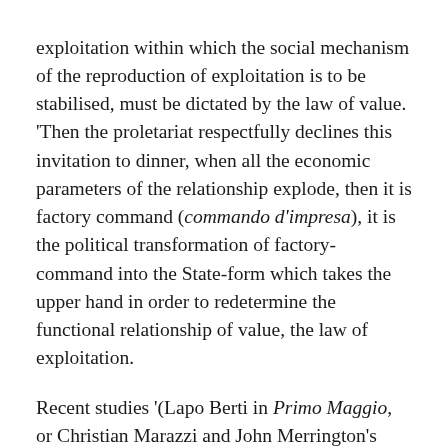exploitation within which the social mechanism of the reproduction of exploitation is to be stabilised, must be dictated by the law of value. 'Then the proletariat respectfully declines this invitation to dinner, when all the economic parameters of the relationship explode, then it is factory command (commando d'impresa), it is the political transformation of factory-command into the State-form which takes the upper hand in order to redetermine the functional relationship of value, the law of exploitation.
Recent studies '(Lapo Berti in Primo Maggio, or Christian Marazzi and John Merrington's presentation to the British Conference of Socialist economists in 1977) have broadly confirmed and documented this process, with particular regard to monetary questions - questions which today are undeniably fundamental to